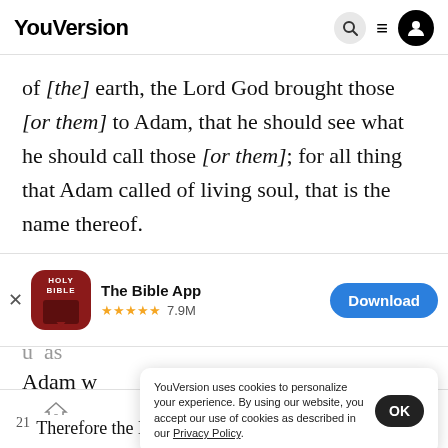YouVersion
of [the] earth, the Lord God brought those [or them] to Adam, that he should see what he should call those [or them]; for all thing that Adam called of living soul, that is the name thereof.
[Figure (screenshot): App download banner for The Bible App with red Holy Bible icon, 5 stars rating, 7.9M reviews, and blue Download button]
YouVersion uses cookies to personalize your experience. By using our website, you accept our use of cookies as described in our Privacy Policy.
21 Therefore the Lord God sent sleep into Adam.
Home | Bible | Plans | Videos